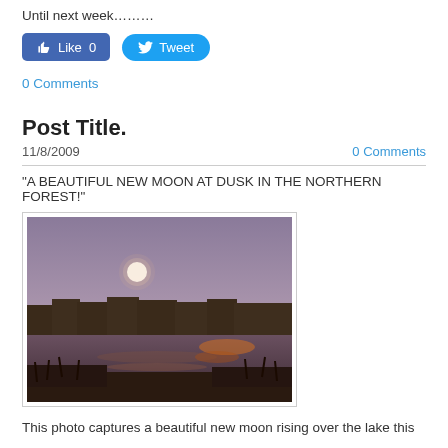Until next week………
[Figure (other): Facebook Like button showing 0 likes and Twitter Tweet button]
0 Comments
Post Title.
11/8/2009
0 Comments
"A BEAUTIFUL NEW MOON AT DUSK IN THE NORTHERN FOREST!"
[Figure (photo): A photograph of a new moon rising at dusk over a lake in the northern forest, with dark treeline silhouette and orange glow reflecting on the water]
This photo captures a beautiful new moon rising over the lake this